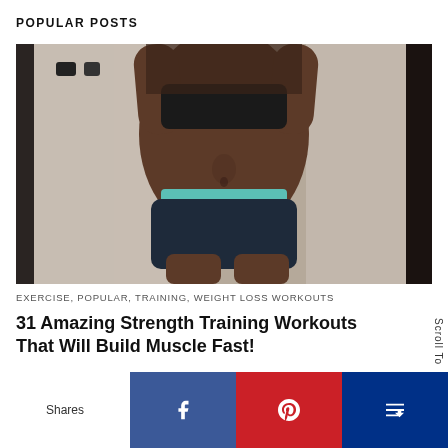POPULAR POSTS
[Figure (photo): Fit woman in workout attire showing torso and legs, mirror selfie in gym bathroom]
EXERCISE, POPULAR, TRAINING, WEIGHT LOSS WORKOUTS
31 Amazing Strength Training Workouts That Will Build Muscle Fast!
Shares